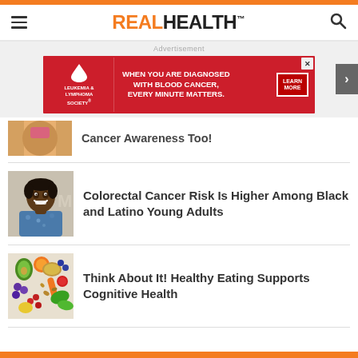REAL HEALTH
[Figure (infographic): Leukemia & Lymphoma Society advertisement banner: 'When you are diagnosed with blood cancer, every minute matters. Learn More']
Cancer Awareness Too! (partial/cropped article title)
[Figure (photo): Photo of a smiling Black man in a floral shirt at an event]
Colorectal Cancer Risk Is Higher Among Black and Latino Young Adults
[Figure (photo): Overhead photo of various healthy foods including avocado, vegetables, grains, and fruits]
Think About It! Healthy Eating Supports Cognitive Health